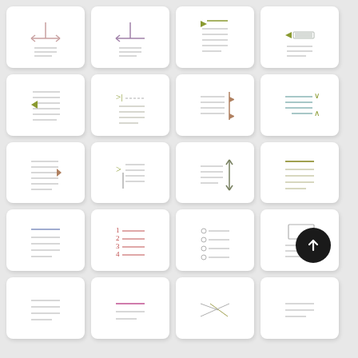[Figure (illustration): Grid of 20 UI icon cards showing various text/layout icons: width arrow, left arrow, text list with arrow, text with highlight; indented list, skip to icon, text align right with arrows, text with chevrons; text align right with triangle, indent text, text align with vertical arrows, heading with lines; text with blue line, numbered list 1-4, bullet list with circles, image card layout; partial row at bottom]
[Figure (illustration): Upload button (black circle with white up arrow) overlaid on bottom-right card]